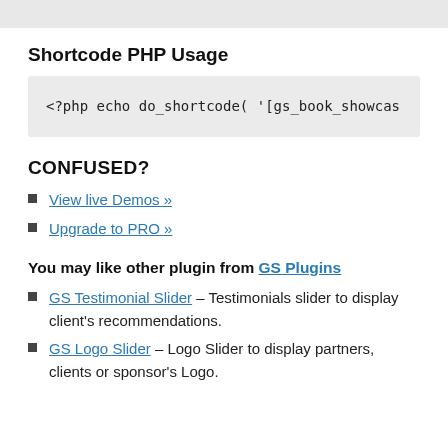Shortcode PHP Usage
[Figure (screenshot): Code block showing: <?php echo do_shortcode( '[gs_book_showcas...]
CONFUSED?
View live Demos »
Upgrade to PRO »
You may like other plugin from GS Plugins
GS Testimonial Slider – Testimonials slider to display client's recommendations.
GS Logo Slider – Logo Slider to display partners, clients or sponsor's Logo.